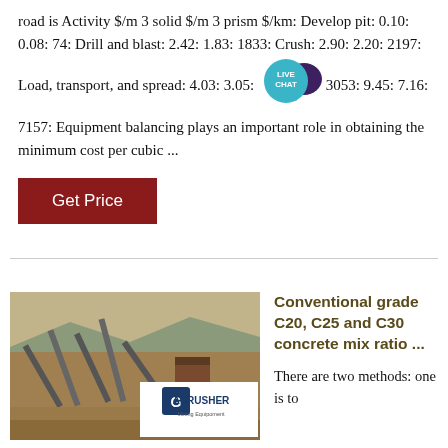road is Activity $/m 3 solid $/m 3 prism $/km: Develop pit: 0.10: 0.08: 74: Drill and blast: 2.42: 1.83: 1833: Crush: 2.90: 2.20: 2197: Load, transport, and spread: 4.03: 3.05: 3053: 9.45: 7.16: 7157: Equipment balancing plays an important role in obtaining the minimum cost per cubic ...
[Figure (logo): Live Chat badge — teal circular badge with speech bubble showing 'LIVE CHAT' text]
Get Price
[Figure (photo): Mining crushing equipment at an open-air site with conveyor belts and machinery, with ACRUSHER Mining Equipment logo overlay]
Conventional grade C20, C25 and C30 concrete mix ratio ...
There are two methods: one is to use a variety of materials amount per 1 cubic meters, such